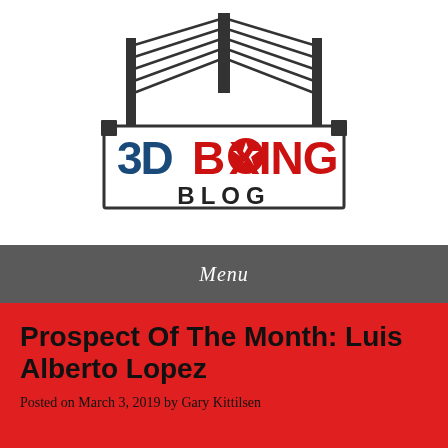[Figure (logo): 3D Boxing Blog logo: a boxing ring illustration above a rectangular badge containing '3D BOXING' in large letters with a star, and 'BLOG' below in dark text]
Menu
Prospect Of The Month: Luis Alberto Lopez
Posted on March 3, 2019 by Gary Kittilsen